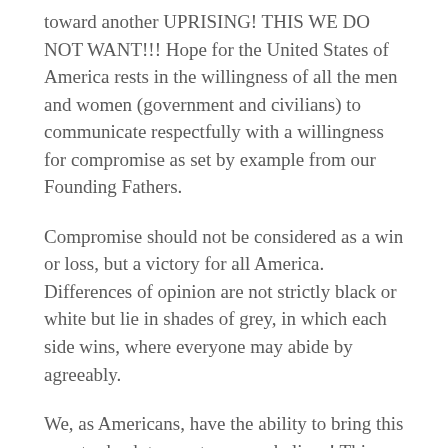toward another UPRISING! THIS WE DO NOT WANT!!! Hope for the United States of America rests in the willingness of all the men and women (government and civilians) to communicate respectfully with a willingness for compromise as set by example from our Founding Fathers.
Compromise should not be considered as a win or loss, but a victory for all America. Differences of opinion are not strictly black or white but lie in shades of grey, in which each side wins, where everyone may abide by agreeably.
We, as Americans, have the ability to bring this country back to greatness, we believe! This current situation we can change and we need to turn this political nightmare around quickly! My call to action is Wake Up America!! We do have choices, options and we have the ability to make this right. Listen, we only have one life, we only